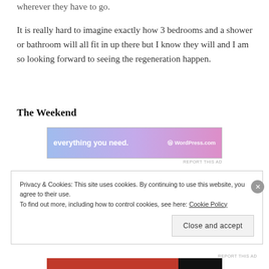wherever they have to go.
It is really hard to imagine exactly how 3 bedrooms and a shower or bathroom will all fit in up there but I know they will and I am so looking forward to seeing the regeneration happen.
The Weekend
[Figure (screenshot): WordPress.com advertisement banner reading 'everything you need.' with WordPress.com logo, gradient background from blue to purple to pink]
REPORT THIS AD
Privacy & Cookies: This site uses cookies. By continuing to use this website, you agree to their use.
To find out more, including how to control cookies, see here: Cookie Policy
Close and accept